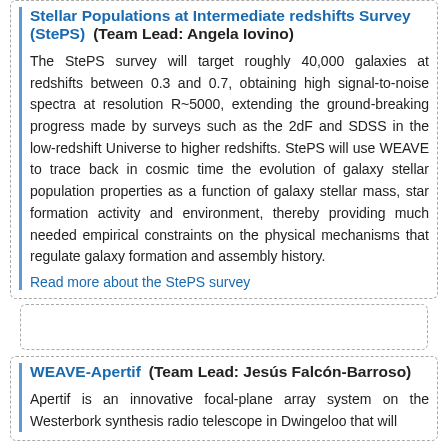Stellar Populations at Intermediate redshifts Survey (StePS) (Team Lead: Angela Iovino)
The StePS survey will target roughly 40,000 galaxies at redshifts between 0.3 and 0.7, obtaining high signal-to-noise spectra at resolution R~5000, extending the ground-breaking progress made by surveys such as the 2dF and SDSS in the low-redshift Universe to higher redshifts. StePS will use WEAVE to trace back in cosmic time the evolution of galaxy stellar population properties as a function of galaxy stellar mass, star formation activity and environment, thereby providing much needed empirical constraints on the physical mechanisms that regulate galaxy formation and assembly history.
Read more about the StePS survey
WEAVE-Apertif (Team Lead: Jesús Falcón-Barroso)
Apertif is an innovative focal-plane array system on the Westerbork synthesis radio telescope in Dwingeloo that will